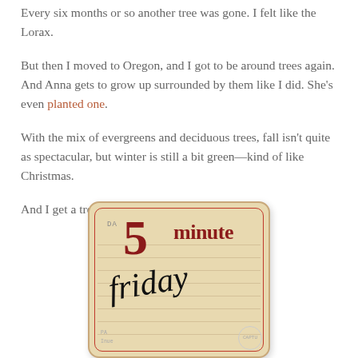Every six months or so another tree was gone. I felt like the Lorax.
But then I moved to Oregon, and I got to be around trees again. And Anna gets to grow up surrounded by them like I did. She's even planted one.
With the mix of evergreens and deciduous trees, fall isn't quite as spectacular, but winter is still a bit green—kind of like Christmas.
And I get a tree outside my window. I like that.
[Figure (photo): A vintage library card or index card showing '5 minute Friday' in large bold red/dark serif text, with 'Friday' written in cursive handwriting below, on an aged yellowish card with a red border. A stamp circle reads 'CAPTU' in the lower right.]